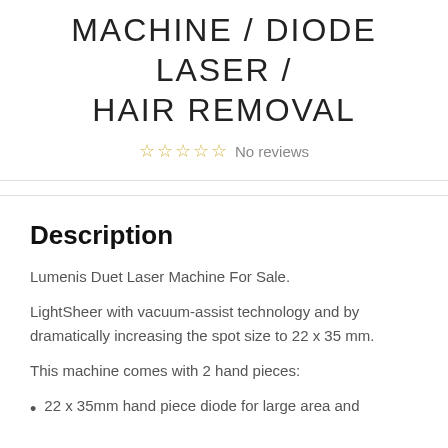MACHINE / DIODE LASER / HAIR REMOVAL
☆☆☆☆☆ No reviews
Description
Lumenis Duet Laser Machine For Sale.
LightSheer with vacuum-assist technology and by dramatically increasing the spot size to 22 x 35 mm.
This machine comes with 2 hand pieces:
22 x 35mm hand piece diode for large area and